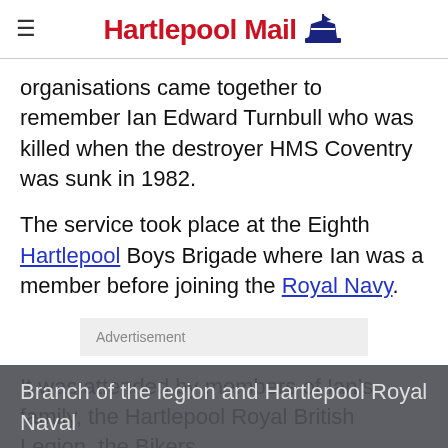Hartlepool Mail
organisations came together to remember Ian Edward Turnbull who was killed when the destroyer HMS Coventry was sunk in 1982.
The service took place at the Eighth Hartlepool Boys Brigade where Ian was a member before joining the Royal Navy.
Advertisement
It was attended by members of Ian’s family, the Hartlepool Royal British Legion, the Bikers Branch of the legion and Hartlepool Royal Naval